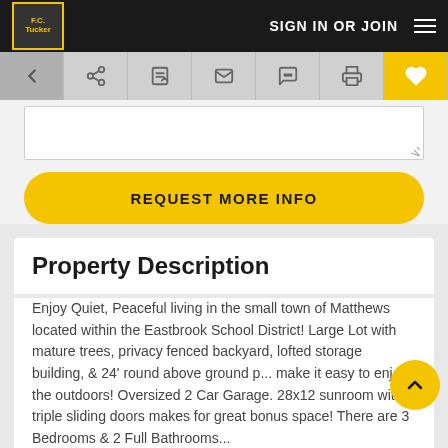F.C. Tucker — SIGN IN OR JOIN
[Figure (screenshot): Icon toolbar with back arrow, share, edit, email, chat, print, and favorite (heart) buttons]
[Figure (screenshot): Text area input field with resize handle]
[Figure (screenshot): REQUEST MORE INFO yellow button]
Property Description
Enjoy Quiet, Peaceful living in the small town of Matthews located within the Eastbrook School District! Large Lot with mature trees, privacy fenced backyard, lofted storage building, & 24' round above ground p... make it easy to enjoy the outdoors! Oversized 2 Car Garage. 28x12 sunroom with triple sliding doors makes for great bonus space! There are 3 Bedrooms & 2 Full Bathrooms...